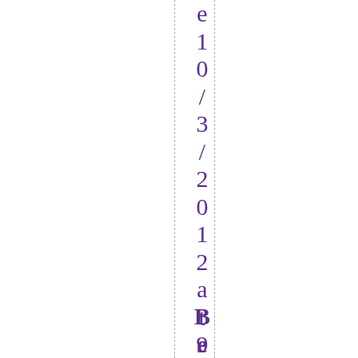10/3/2012 at 9:20 am. Reply Be